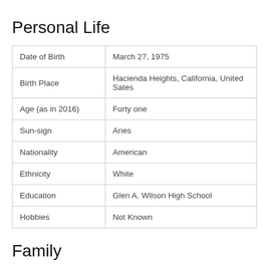Personal Life
| Date of Birth | March 27, 1975 |
| Birth Place | Hacienda Heights, California, United Sates |
| Age (as in 2016) | Forty one |
| Sun-sign | Aries |
| Nationality | American |
| Ethnicity | White |
| Education | Glen A. Wilson High School |
| Hobbies | Not Known |
Family